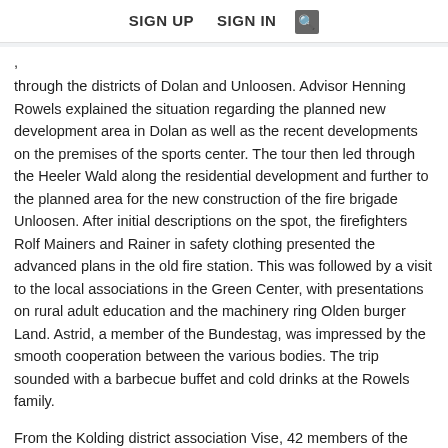SIGN UP   SIGN IN  [search icon]
, through the districts of Dolan and Unloosen. Advisor Henning Rowels explained the situation regarding the planned new development area in Dolan as well as the recent developments on the premises of the sports center. The tour then led through the Heeler Wald along the residential development and further to the planned area for the new construction of the fire brigade Unloosen. After initial descriptions on the spot, the firefighters Rolf Mainers and Rainer in safety clothing presented the advanced plans in the old fire station. This was followed by a visit to the local associations in the Green Center, with presentations on rural adult education and the machinery ring Olden burger Land. Astrid, a member of the Bundestag, was impressed by the smooth cooperation between the various bodies. The trip sounded with a barbecue buffet and cold drinks at the Rowels family.
From the Kolding district association Vise, 42 members of the family hiking day in Althorn met. The Althorn had invited. After the joint coffee table the participants made their way. Guest guide Sylvia Vernon told a lot of interesting and interesting things about the fish ponds. She reported on the work of the fish farmers over the year, beginning with the breeding of the fish spawn in special